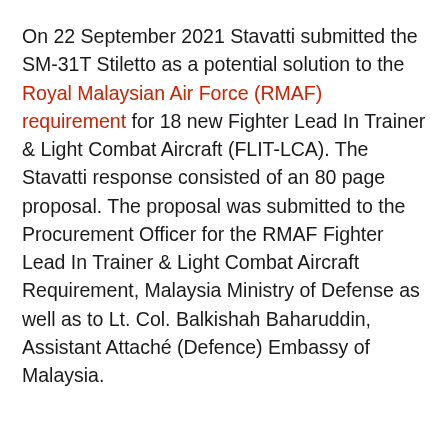On 22 September 2021 Stavatti submitted the SM-31T Stiletto as a potential solution to the Royal Malaysian Air Force (RMAF) requirement for 18 new Fighter Lead In Trainer & Light Combat Aircraft (FLIT-LCA). The Stavatti response consisted of an 80 page proposal. The proposal was submitted to the Procurement Officer for the RMAF Fighter Lead In Trainer & Light Combat Aircraft Requirement, Malaysia Ministry of Defense as well as to Lt. Col. Balkishah Baharuddin, Assistant Attaché (Defence) Embassy of Malaysia.